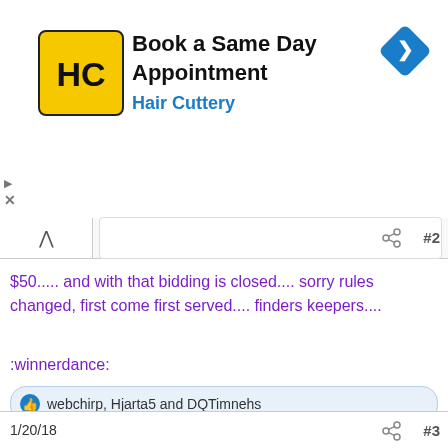[Figure (screenshot): Hair Cuttery advertisement banner: yellow/black HC logo, 'Book a Same Day Appointment' headline, 'Hair Cuttery' subtitle in blue, blue diamond navigation icon on right]
$50..... and with that bidding is closed.... sorry rules changed, first come first served.... finders keepers....
:winnerdance:
webchirp, Hjarta5 and DQTimnehs
[Figure (screenshot): User profile card for DQTimnehs with parrot avatar, tagline 'Ri-DQ-lously crazy 4 TAGs!', badges: Avenue Veteran (yellow), Celebirdy of the Month (blue), Mayor of the Avenue (blue), Avenue Spotlight Award (blue)]
1/20/18  #3